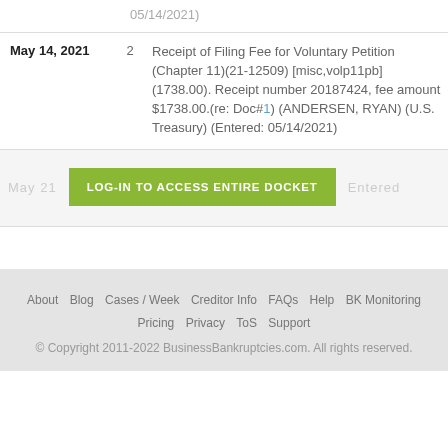05/14/2021)
| Date | Doc | Description |
| --- | --- | --- |
| May 14, 2021 | 2 | Receipt of Filing Fee for Voluntary Petition (Chapter 11)(21-12509) [misc,volp11pb] (1738.00). Receipt number 20187424, fee amount $1738.00.(re: Doc#1) (ANDERSEN, RYAN) (U.S. Treasury) (Entered: 05/14/2021) |
LOG-IN TO ACCESS ENTIRE DOCKET
About  Blog  Cases/Week  Creditor Info  FAQs  Help  BK Monitoring  Pricing  Privacy  ToS  Support
© Copyright 2011-2022 BusinessBankruptcies.com. All rights reserved.